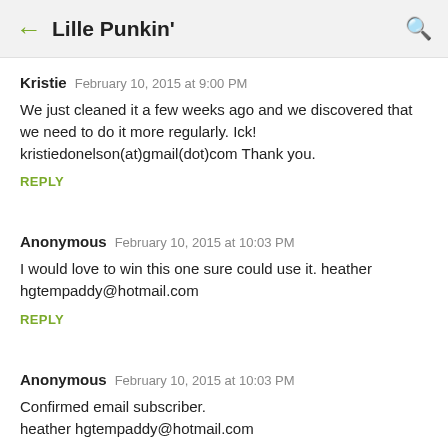← Lille Punkin' 🔍
Kristie  February 10, 2015 at 9:00 PM

We just cleaned it a few weeks ago and we discovered that we need to do it more regularly. Ick! kristiedonelson(at)gmail(dot)com Thank you.

REPLY
Anonymous  February 10, 2015 at 10:03 PM

I would love to win this one sure could use it. heather hgtempaddy@hotmail.com

REPLY
Anonymous  February 10, 2015 at 10:03 PM

Confirmed email subscriber. heather hgtempaddy@hotmail.com

REPLY